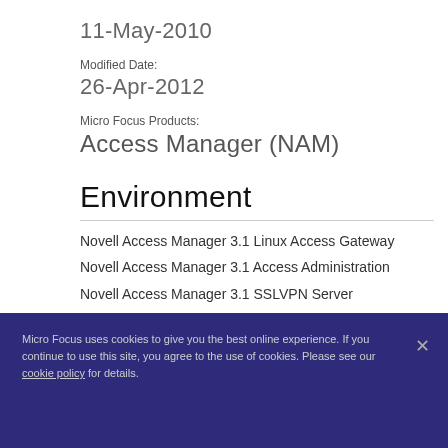11-May-2010
Modified Date:
26-Apr-2012
Micro Focus Products:
Access Manager (NAM)
Environment
Novell Access Manager 3.1 Linux Access Gateway
Novell Access Manager 3.1 Access Administration
Novell Access Manager 3.1 SSLVPN Server
Novell Access Manager 3.1 Linux Novell Identity
Micro Focus uses cookies to give you the best online experience. If you continue to use this site, you agree to the use of cookies. Please see our cookie policy for details.